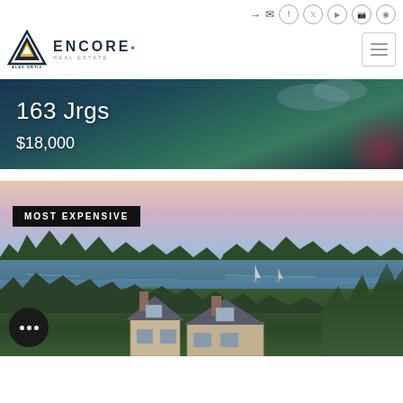Navigation icons: login, email, facebook, twitter, youtube, instagram, pinterest
[Figure (logo): Alex Ortiz logo with triangle mountain shape and Encore Real Estate wordmark]
[Figure (photo): Listing banner for 163 Jrgs priced at $18,000 with dark teal ocean background]
163 Jrgs
$18,000
[Figure (photo): Aerial waterfront property photo labeled MOST EXPENSIVE, showing coastal estuary at dusk with houses, sailboats, and trees]
MOST EXPENSIVE